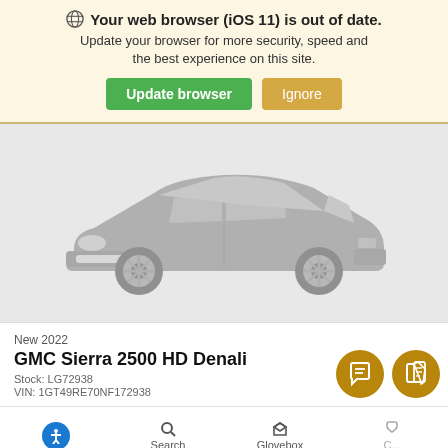🌐 Your web browser (iOS 11) is out of date. Update your browser for more security, speed and the best experience on this site.
Update browser | Ignore
[Figure (illustration): Gray car silhouette placeholder image on light gray background]
New 2022
GMC Sierra 2500 HD Denali
Stock: LG72938
VIN: 1GT49RE70NF172938
[Figure (other): Bottom navigation bar with accessibility icon, Search, Glovebox, and contact/chat FAB buttons]